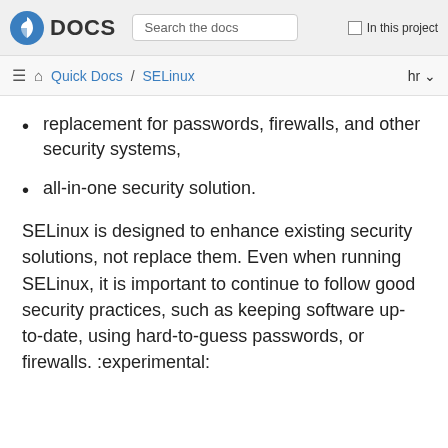DOCS | Search the docs | In this project
Quick Docs / SELinux | hr
replacement for passwords, firewalls, and other security systems,
all-in-one security solution.
SELinux is designed to enhance existing security solutions, not replace them. Even when running SELinux, it is important to continue to follow good security practices, such as keeping software up-to-date, using hard-to-guess passwords, or firewalls. :experimental: